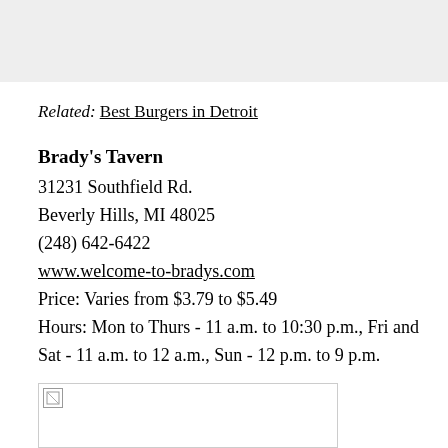Related: Best Burgers in Detroit
Brady's Tavern
31231 Southfield Rd.
Beverly Hills, MI 48025
(248) 642-6422
www.welcome-to-bradys.com
Price: Varies from $3.79 to $5.49
Hours: Mon to Thurs - 11 a.m. to 10:30 p.m., Fri and Sat - 11 a.m. to 12 a.m., Sun - 12 p.m. to 9 p.m.
[Figure (photo): Broken image placeholder at bottom of page]